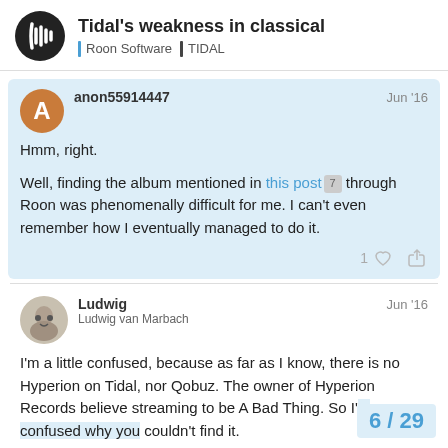Tidal's weakness in classical | Roon Software | TIDAL
anon55914447 Jun '16
Hmm, right.

Well, finding the album mentioned in this post 7 through Roon was phenomenally difficult for me. I can't even remember how I eventually managed to do it.
Ludwig Ludwig van Marbach Jun '16
I'm a little confused, because as far as I know, there is no Hyperion on Tidal, nor Qobuz. The owner of Hyperion Records believe streaming to be A Bad Thing. So I'm confused why you couldn't find it.
6 / 29